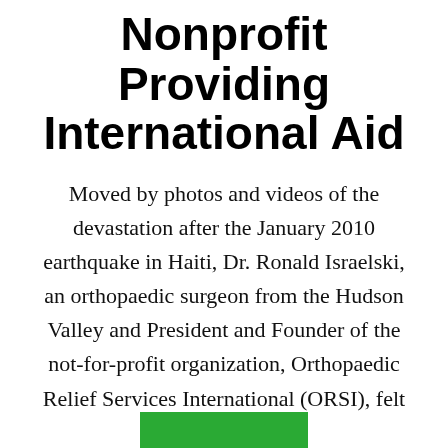Nonprofit Providing International Aid
Moved by photos and videos of the devastation after the January 2010 earthquake in Haiti, Dr. Ronald Israelski, an orthopaedic surgeon from the Hudson Valley and President and Founder of the not-for-profit organization, Orthopaedic Relief Services International (ORSI), felt compelled to help.
[Figure (other): Green rectangle bar at the bottom center of the page]